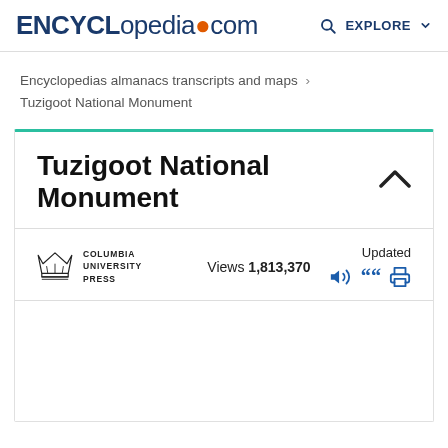ENCYCLopedia.com  EXPLORE
Encyclopedias almanacs transcripts and maps > Tuzigoot National Monument
Tuzigoot National Monument
Views 1,813,370  Updated
[Figure (logo): Columbia University Press crown logo with text COLUMBIA UNIVERSITY PRESS]